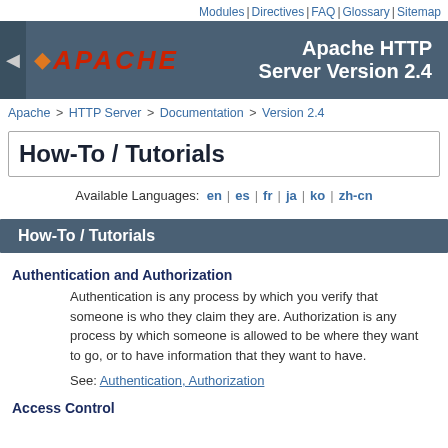Modules | Directives | FAQ | Glossary | Sitemap
[Figure (logo): Apache HTTP Server logo with feather and text, on dark blue-grey banner. Apache HTTP Server Version 2.4]
Apache > HTTP Server > Documentation > Version 2.4
How-To / Tutorials
Available Languages: en | es | fr | ja | ko | zh-cn
How-To / Tutorials
Authentication and Authorization
Authentication is any process by which you verify that someone is who they claim they are. Authorization is any process by which someone is allowed to be where they want to go, or to have information that they want to have.
See: Authentication, Authorization
Access Control